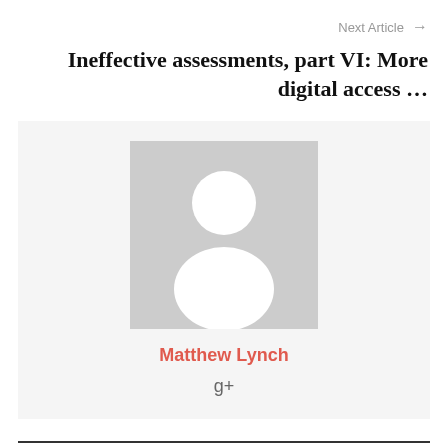Next Article →
Ineffective assessments, part VI: More digital access …
[Figure (illustration): Author avatar placeholder — grey square with white silhouette of a person]
Matthew Lynch
g+
RELATED ARTICLES   MORE FROM AUTHOR